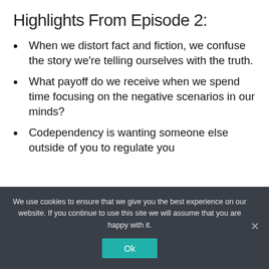Highlights From Episode 2:
When we distort fact and fiction, we confuse the story we're telling ourselves with the truth.
What payoff do we receive when we spend time focusing on the negative scenarios in our minds?
Codependency is wanting someone else outside of you to regulate you emotionally.
We use cookies to ensure that we give you the best experience on our website. If you continue to use this site we will assume that you are happy with it.